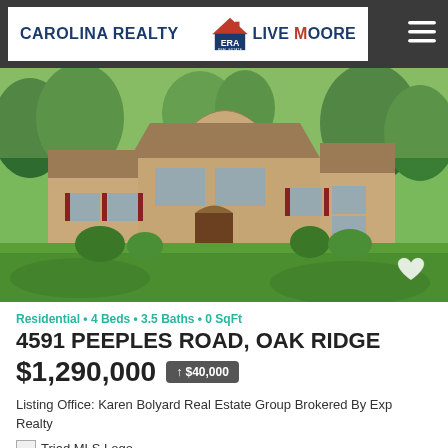CAROLINA REALTY | ERA LIVE MOORE
[Figure (photo): Exterior photo of a large brick residential home at 4591 Peeples Road, Oak Ridge, with green lawn, trees, and landscaping]
Residential • 4 Beds • 3.5 Baths • 0 SqFt
4591 PEEPLES ROAD, OAK RIDGE
$1,290,000  ↑ $40,000
Listing Office: Karen Bolyard Real Estate Group Brokered By Exp Realty
Triad MLS Logo